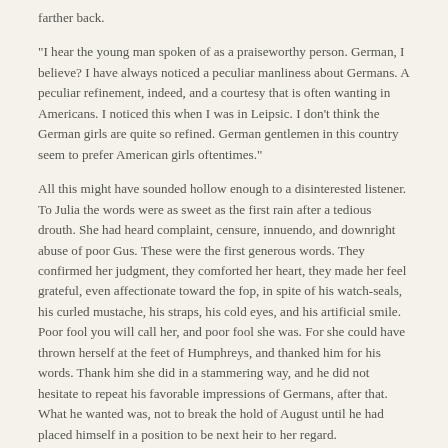farther back.
"I hear the young man spoken of as a praiseworthy person. German, I believe? I have always noticed a peculiar manliness about Germans. A peculiar refinement, indeed, and a courtesy that is often wanting in Americans. I noticed this when I was in Leipsic. I don't think the German girls are quite so refined. German gentlemen in this country seem to prefer American girls oftentimes."
All this might have sounded hollow enough to a disinterested listener. To Julia the words were as sweet as the first rain after a tedious drouth. She had heard complaint, censure, innuendo, and downright abuse of poor Gus. These were the first generous words. They confirmed her judgment, they comforted her heart, they made her feel grateful, even affectionate toward the fop, in spite of his watch-seals, his curled mustache, his straps, his cold eyes, and his artificial smile. Poor fool you will call her, and poor fool she was. For she could have thrown herself at the feet of Humphreys, and thanked him for his words. Thank him she did in a stammering way, and he did not hesitate to repeat his favorable impressions of Germans, after that. What he wanted was, not to break the hold of August until he had placed himself in a position to be next heir to her regard.
CHAPTER XI.
THE COON-DOG ARGUMENT.
The reader must understand that all this time Elder Hankins continued to bombard Clark township with the thunders and lightnings of the Apocalypse, continued to whirl before the dazed